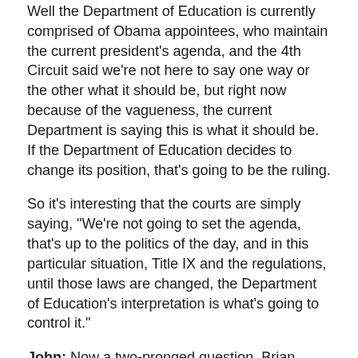Well the Department of Education is currently comprised of Obama appointees, who maintain the current president's agenda, and the 4th Circuit said we're not here to say one way or the other what it should be, but right now because of the vagueness, the current Department is saying this is what it should be. If the Department of Education decides to change its position, that's going to be the ruling.
So it's interesting that the courts are simply saying, "We're not going to set the agenda, that's up to the politics of the day, and in this particular situation, Title IX and the regulations, until those laws are changed, the Department of Education's interpretation is what's going to control it."
John: Now a two-pronged question, Brian. Where do you see the law heading, and how will the ruling impact the day to day operations of retail entities, restaurants, and other property owned establishments?
Brian: I think we're going to see the law heading into some